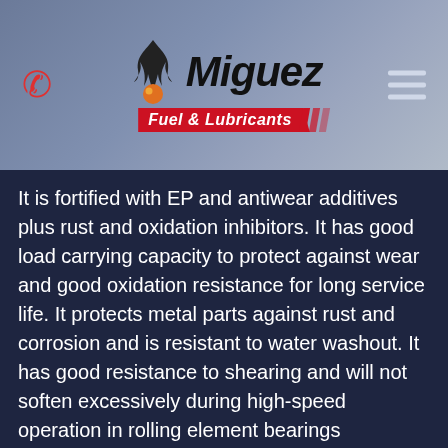[Figure (logo): Miguez Fuel & Lubricants logo with flame/droplet icon and red banner subtitle, on a grey-blue gradient header background with phone icon on left and hamburger menu on right]
It is fortified with EP and antiwear additives plus rust and oxidation inhibitors. It has good load carrying capacity to protect against wear and good oxidation resistance for long service life. It protects metal parts against rust and corrosion and is resistant to water washout. It has good resistance to shearing and will not soften excessively during high-speed operation in rolling element bearings maintaining a good seal to minimize bearing contamination.
Dynalife 220 is available in multiple grades for use in a wide variety of applications. It is an excellent